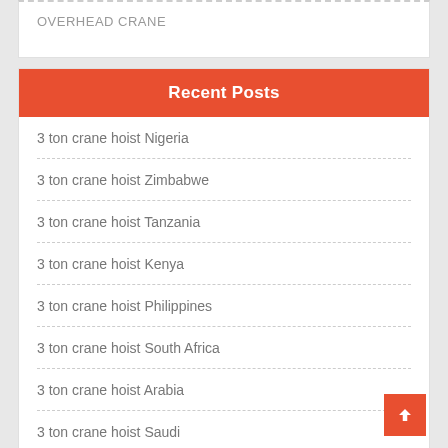OVERHEAD CRANE
Recent Posts
3 ton crane hoist Nigeria
3 ton crane hoist Zimbabwe
3 ton crane hoist Tanzania
3 ton crane hoist Kenya
3 ton crane hoist Philippines
3 ton crane hoist South Africa
3 ton crane hoist Arabia
3 ton crane hoist Saudi